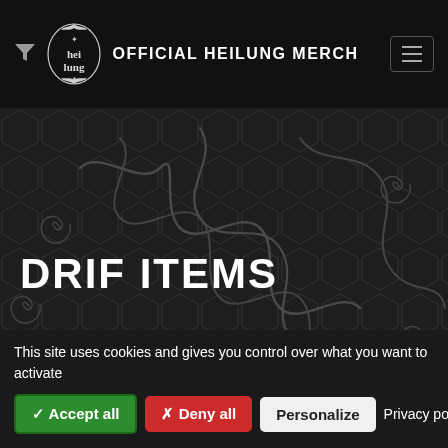OFFICIAL HEILUNG MERCH
DRIF ITEMS
Sort By
New
Show per page
45
[Figure (screenshot): Decorative dark background with Celtic/Norse knotwork pattern]
[Figure (photo): Partial product images visible at bottom of page]
This site uses cookies and gives you control over what you want to activate
✓ Accept all
✗ Deny all
Personalize
Privacy policy